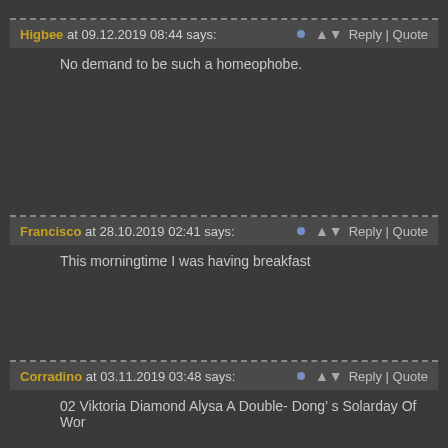Higbee at 09.12.2019 08:44 says:
Reply | Quote
No demand to be such a homeophobe.
Francisco at 28.10.2019 02:41 says:
Reply | Quote
This morningtime I was having breakfast
Corradino at 03.11.2019 03:48 says:
Reply | Quote
02 Viktoria Diamond Alysa A Double- Dong’ s Solarday Of Wor